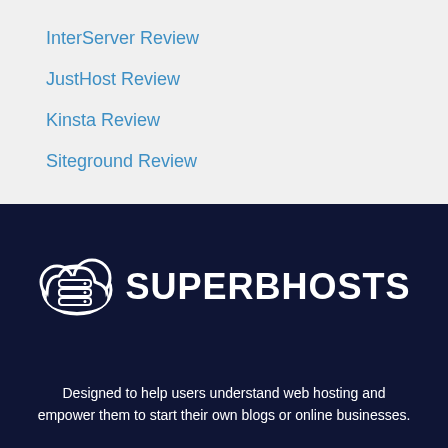InterServer Review
JustHost Review
Kinsta Review
Siteground Review
[Figure (logo): SuperbHosts logo: cloud with stacked server disks icon on left, SUPERBHOSTS text on right, white on dark navy background]
Designed to help users understand web hosting and empower them to start their own blogs or online businesses.